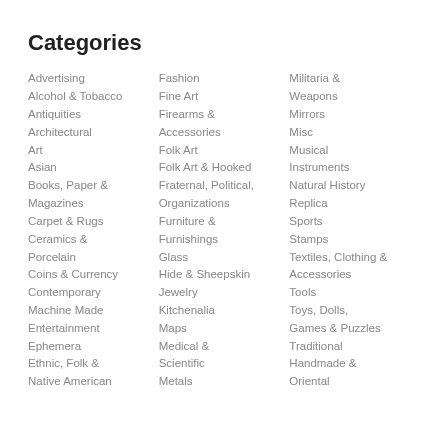Categories
Advertising
Alcohol & Tobacco
Antiquities
Architectural
Art
Asian
Books, Paper & Magazines
Carpet & Rugs
Ceramics & Porcelain
Coins & Currency
Contemporary Machine Made
Entertainment
Ephemera
Ethnic, Folk & Native American
Fashion
Fine Art
Firearms & Accessories
Folk Art
Folk Art & Hooked
Fraternal, Political, Organizations
Furniture & Furnishings
Glass
Hide & Sheepskin
Jewelry
Kitchenalia
Maps
Medical & Scientific
Metals
Militaria & Weapons
Mirrors
Misc
Musical Instruments
Natural History
Replica
Sports
Stamps
Textiles, Clothing & Accessories
Tools
Toys, Dolls, Games & Puzzles
Traditional Handmade & Oriental